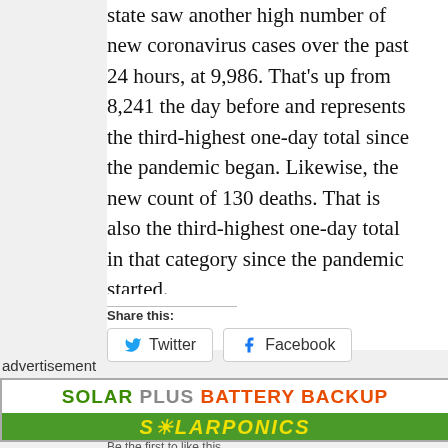state saw another high number of new coronavirus cases over the past 24 hours, at 9,986. That's up from 8,241 the day before and represents the third-highest one-day total since the pandemic began. Likewise, the new count of 130 deaths. That is also the third-highest one-day total in that category since the pandemic started.
Share this:
[Figure (other): Share buttons for Twitter and Facebook]
advertisement
[Figure (other): Advertisement banner: SOLAR PLUS BATTERY BACKUP - SOLARPONICS]
Be the first to like this.